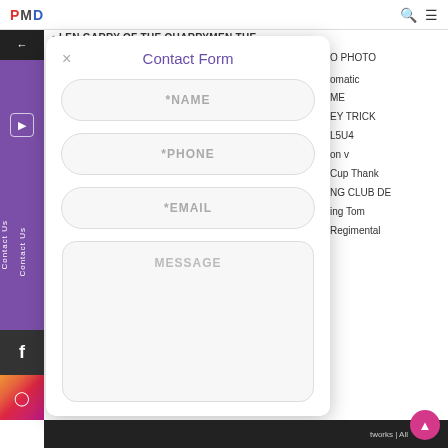PMD
LEN GARRY OF THE QUARRYMEN THE
O PHOTO
omatic
ME
EY TRICK
L5U4
on v
Cup Thank
NG CLUB DE
ing Tom
Regimental
[Figure (screenshot): Contact Form modal overlay on a website. Contains fields: *NAME, *PHONE, *EMAIL, and MESSAGE. Has a close (x) button and purple 'Contact Form' title.]
tworks | All
Contact Us